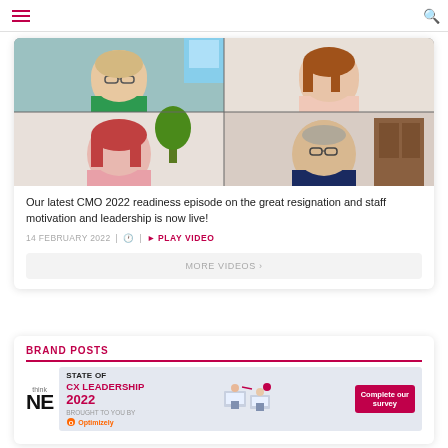Navigation header with hamburger menu and search icon
[Figure (screenshot): Video conference screenshot showing 4 participants in a 2x2 grid: top-left woman with blonde hair and glasses wearing green top, top-right woman with brown hair wearing pink blazer, bottom-left woman with red hair wearing pink top, bottom-right man with glasses wearing navy top]
Our latest CMO 2022 readiness episode on the great resignation and staff motivation and leadership is now live!
14 FEBRUARY 2022 | ⏱ | ▶ PLAY VIDEO
MORE VIDEOS ›
BRAND POSTS
[Figure (infographic): Advertisement banner: State of CX Leadership 2022, brought to you by Optimizely, with Complete our survey button and illustration of people at computers]